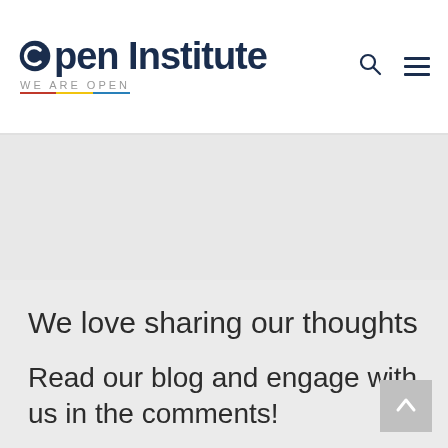Open Institute — WE ARE OPEN
We love sharing our thoughts
Read our blog and engage with us in the comments!